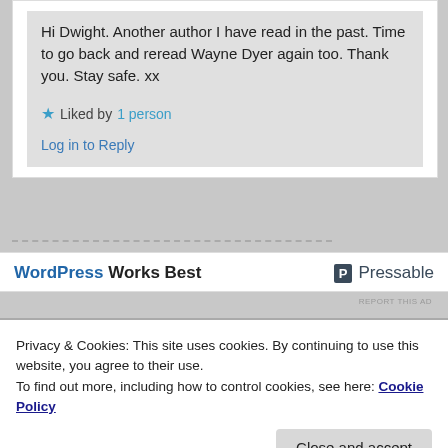Hi Dwight. Another author I have read in the past. Time to go back and reread Wayne Dyer again too. Thank you. Stay safe. xx
Liked by 1 person
Log in to Reply
[Figure (logo): WordPress Works Best - Pressable advertisement banner]
REPORT THIS AD
Privacy & Cookies: This site uses cookies. By continuing to use this website, you agree to their use. To find out more, including how to control cookies, see here: Cookie Policy
Close and accept
I'm so sorry, I suffered most of my life with